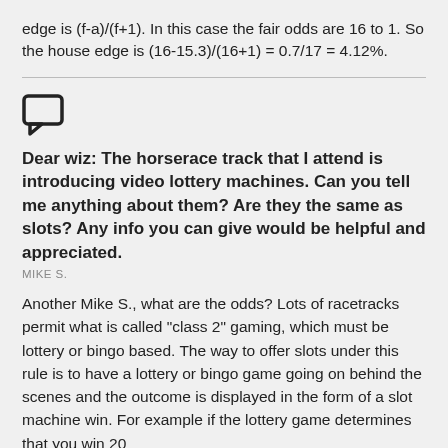edge is (f-a)/(f+1). In this case the fair odds are 16 to 1. So the house edge is (16-15.3)/(16+1) = 0.7/17 = 4.12%.
[Figure (illustration): Speech bubble / comment icon]
Dear wiz: The horserace track that I attend is introducing video lottery machines. Can you tell me anything about them? Are they the same as slots? Any info you can give would be helpful and appreciated.
MIKE S.
Another Mike S., what are the odds? Lots of racetracks permit what is called "class 2" gaming, which must be lottery or bingo based. The way to offer slots under this rule is to have a lottery or bingo game going on behind the scenes and the outcome is displayed in the form of a slot machine win. For example if the lottery game determines that you win 20